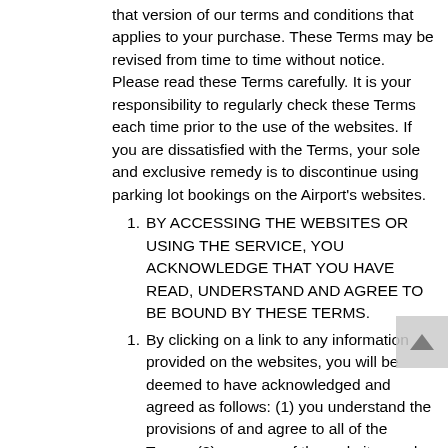that version of our terms and conditions that applies to your purchase. These Terms may be revised from time to time without notice. Please read these Terms carefully. It is your responsibility to regularly check these Terms each time prior to the use of the websites. If you are dissatisfied with the Terms, your sole and exclusive remedy is to discontinue using parking lot bookings on the Airport's websites.
BY ACCESSING THE WEBSITES OR USING THE SERVICE, YOU ACKNOWLEDGE THAT YOU HAVE READ, UNDERSTAND AND AGREE TO BE BOUND BY THESE TERMS.
By clicking on a link to any information provided on the websites, you will be deemed to have acknowledged and agreed as follows: (1) you understand the provisions of and agree to all of the Terms; (2) your use of the websites and the information provided on them shall conform to all applicable laws and regulations; and (3) you shall not violate the rights, including any intellectual property or other rights in or to the